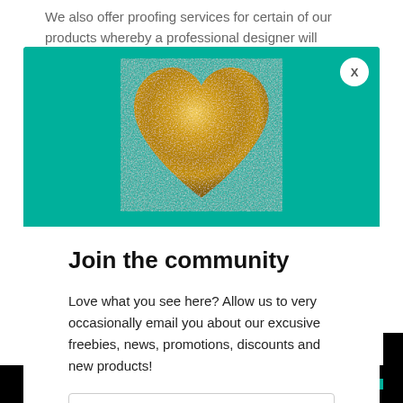We also offer proofing services for certain of our products whereby a professional designer will
[Figure (illustration): Teal background popup modal with a golden/yellow metallic heart shape centered on a teal/turquoise rectangle, with a white circular close button (X) in the top right corner.]
Join the community
Love what you see here? Allow us to very occasionally email you about our excusive freebies, news, promotions, discounts and new products!
Your email address